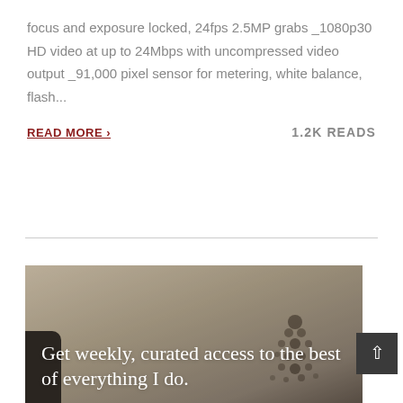focus and exposure locked, 24fps 2.5MP grabs _1080p30 HD video at up to 24Mbps with uncompressed video output _91,000 pixel sensor for metering, white balance, flash...
READ MORE ›
1.2K READS
[Figure (photo): Background image with overlaid text reading: Get weekly, curated access to the best of everything I do.]
Get weekly, curated access to the best of everything I do.